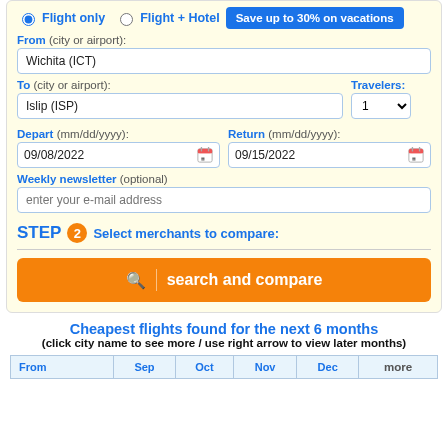Flight only (selected)
Flight + Hotel — Save up to 30% on vacations
From (city or airport): Wichita (ICT)
To (city or airport): Islip (ISP) | Travelers: 1
Depart (mm/dd/yyyy): 09/08/2022
Return (mm/dd/yyyy): 09/15/2022
Weekly newsletter (optional) — enter your e-mail address
STEP 2 Select merchants to compare:
search and compare
Cheapest flights found for the next 6 months
(click city name to see more / use right arrow to view later months)
| From | Sep | Oct | Nov | Dec | more |
| --- | --- | --- | --- | --- | --- |